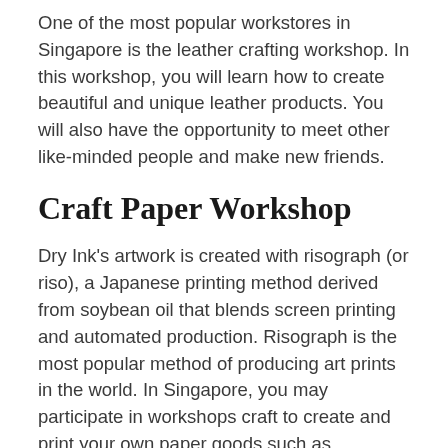One of the most popular workstores in Singapore is the leather crafting workshop. In this workshop, you will learn how to create beautiful and unique leather products. You will also have the opportunity to meet other like-minded people and make new friends.
Craft Paper Workshop
Dry Ink's artwork is created with risograph (or riso), a Japanese printing method derived from soybean oil that blends screen printing and automated production. Risograph is the most popular method of producing art prints in the world. In Singapore, you may participate in workshops craft to create and print your own paper goods such as...